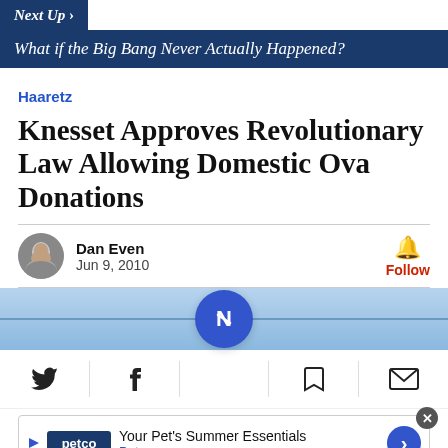Next Up › What if the Big Bang Never Actually Happened?
Haaretz
Knesset Approves Revolutionary Law Allowing Domestic Ova Donations
Dan Even
Jun 9, 2010
[Figure (screenshot): Share bar with Twitter, Facebook, Newsbreak, bookmark, and email icons, plus a Petco advertisement banner at the bottom]